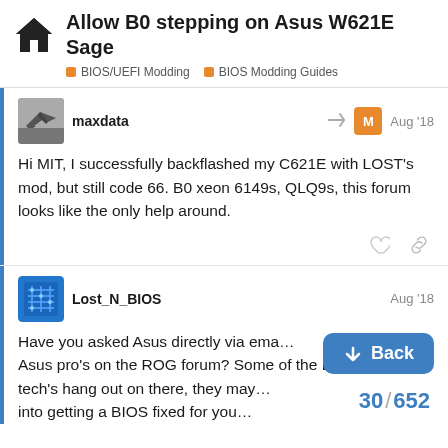Allow B0 stepping on Asus W621E Sage — BIOS/UEFI Modding — BIOS Modding Guides
maxdata — Aug '18
Hi MIT, I successfully backflashed my C621E with LOST's mod, but still code 66. B0 xeon 6149s, QLQ9s, this forum looks like the only help around.
Lost_N_BIOS — Aug '18
Have you asked Asus directly via ema... Asus pro's on the ROG forum? Some of the BIOS tech's hang out on there, they may... into getting a BIOS fixed for you...